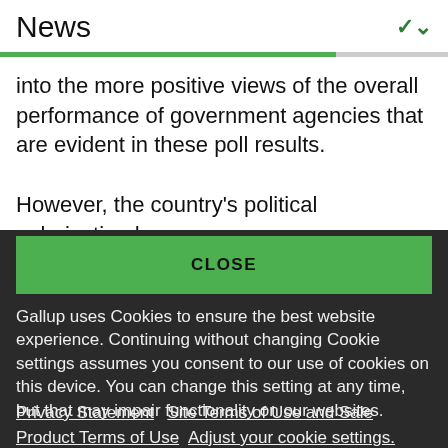News
into the more positive views of the overall performance of government agencies that are evident in these poll results.
However, the country's political polarization has
CLOSE
Gallup uses Cookies to ensure the best website experience. Continuing without changing Cookie settings assumes you consent to our use of cookies on this device. You can change this setting at any time, but that may impair functionality on our websites.
Privacy Statement   Site Terms of Use and Sale
Product Terms of Use   Adjust your cookie settings.